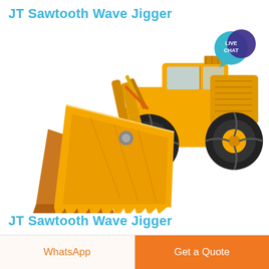JT Sawtooth Wave Jigger
[Figure (photo): Yellow front-end wheel loader / pay loader construction machine with large bucket attachment featuring sawtooth teeth, on white background. A 'LIVE CHAT' speech bubble badge appears in the upper right corner of the image area.]
JT Sawtooth Wave Jigger
WhatsApp
Get a Quote